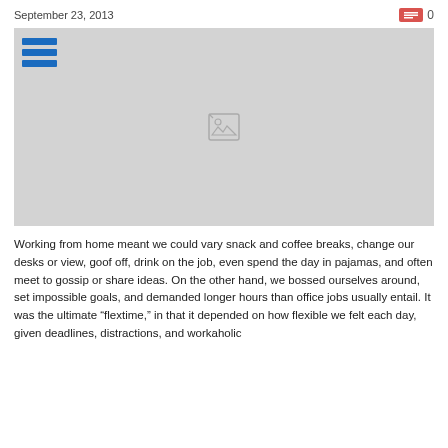September 23, 2013
[Figure (photo): Placeholder image with broken image icon and menu/hamburger icon overlay in top-left corner]
Working from home meant we could vary snack and coffee breaks, change our desks or view, goof off, drink on the job, even spend the day in pajamas, and often meet to gossip or share ideas. On the other hand, we bossed ourselves around, set impossible goals, and demanded longer hours than office jobs usually entail. It was the ultimate “flextime,” in that it depended on how flexible we felt each day, given deadlines, distractions, and workaholic